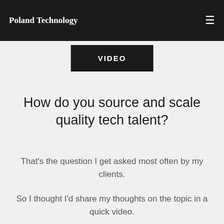Poland Technology
[Figure (other): VIDEO button — black rectangle with white uppercase text 'VIDEO']
How do you source and scale quality tech talent?
That's the question I get asked most often by my clients.
So I thought I'd share my thoughts on the topic in a quick video.